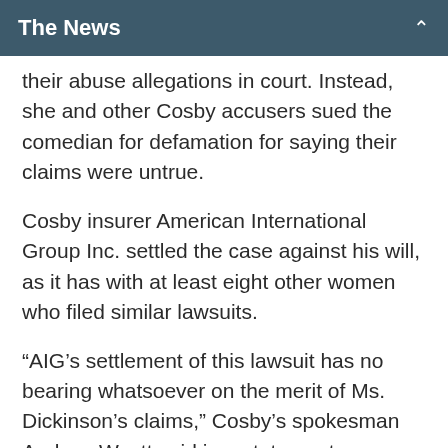The News
their abuse allegations in court. Instead, she and other Cosby accusers sued the comedian for defamation for saying their claims were untrue.
Cosby insurer American International Group Inc. settled the case against his will, as it has with at least eight other women who filed similar lawsuits.
“AIG’s settlement of this lawsuit has no bearing whatsoever on the merit of Ms. Dickinson’s claims,” Cosby’s spokesman Andrew Wyatt said in a statement Thursday. He said Dickinson’s case is another example